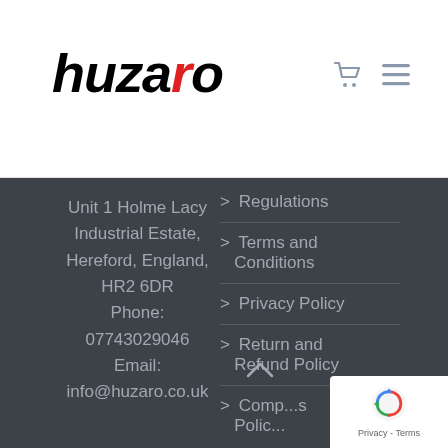[Figure (logo): Huzaro logo in bold italic black text with red 'r' letter]
[Figure (other): Cart icon and hamburger menu icon in grey]
Unit 1 Holme Lacy Industrial Estate, Hereford, England, HR2 6DR
Phone: 07743029046
Email: info@huzaro.co.uk
> Regulations
> Terms and Conditions
> Privacy Policy
> Return and Refund Policy
> Comp...s... Policy
[Figure (other): Google reCAPTCHA badge with logo and Privacy - Terms text]